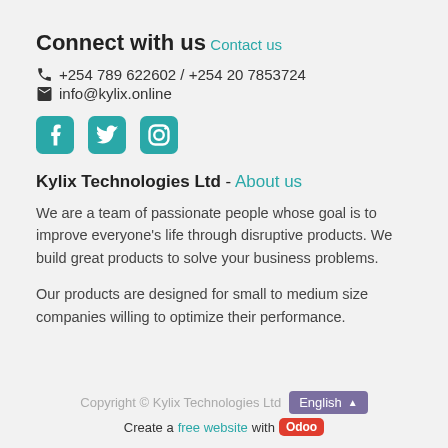Connect with us
Contact us
+254 789 622602 / +254 20 7853724
info@kylix.online
[Figure (illustration): Social media icons: Facebook, Twitter, Instagram in teal color]
Kylix Technologies Ltd - About us
We are a team of passionate people whose goal is to improve everyone's life through disruptive products. We build great products to solve your business problems.
Our products are designed for small to medium size companies willing to optimize their performance.
Copyright © Kylix Technologies Ltd  English  Create a free website with Odoo